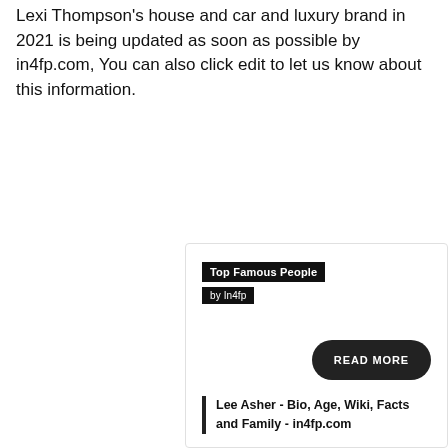Lexi Thompson's house and car and luxury brand in 2021 is being updated as soon as possible by in4fp.com, You can also click edit to let us know about this information.
Top Famous People
by In4fp
READ MORE
Lee Asher - Bio, Age, Wiki, Facts and Family - in4fp.com